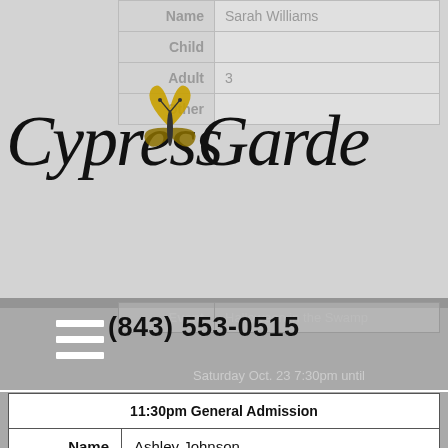[Figure (logo): Cypress Gardens logo with butterfly, cursive/decorative font]
| Name | Sarah Williams |
| Child |  |
| Adult | 3 |
| Other |  |
(843) 553-0515
Event  Halloween in the Swamp
Saturday Oct. 23 7:30pm until
| Event | Halloween in the Swamp Saturday Oct. 23 7:30pm until 11:30pm General Admission |
| Name | Ashley Johnson |
| Child |  |
| Adult | 3 |
| Other |  |
| Event | Halloween in the Swamp |
|  | Saturday Oct. 23 7:30pm  until |